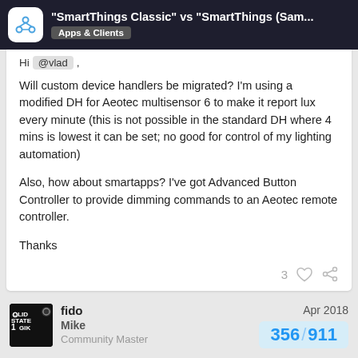"SmartThings Classic" vs "SmartThings (Sam... Apps & Clients
Hi @vlad ,
Will custom device handlers be migrated? I'm using a modified DH for Aeotec multisensor 6 to make it report lux every minute (this is not possible in the standard DH where 4 mins is lowest it can be set; no good for control of my lighting automation)
Also, how about smartapps? I've got Advanced Button Controller to provide dimming commands to an Aeotec remote controller.
Thanks
fido
Mike
Community Master
Apr 2018
356 / 911